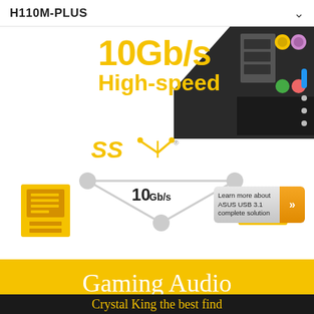H110M-PLUS
[Figure (photo): Product page showing '10Gb/s High-speed' text in orange/gold on white background, with a photo of motherboard rear I/O ports in the top-right corner. Below: SuperSpeed USB 3.1 logo (SSC with USB trident), a triangle diagram with 10Gb/s label, icons of storage device and network connector, and a button 'Learn more about ASUS USB 3.1 complete solution' with orange arrow.]
Gaming Audio
Crystal King the best find